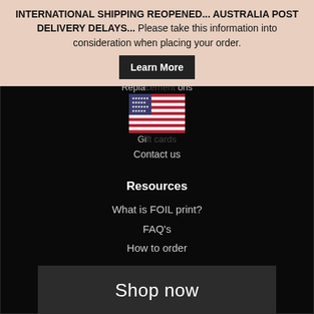INTERNATIONAL SHIPPING REOPENED... AUSTRALIA POST DELIVERY DELAYS... Please take this information into consideration when placing your order. Learn More
Replacement options
[Figure (illustration): USA flag emoji / image]
Gift cards
Contact us
Resources
What is FOIL print?
FAQ's
How to order
Shop now
Terms of Service
Refund Policy
Privacy Policy